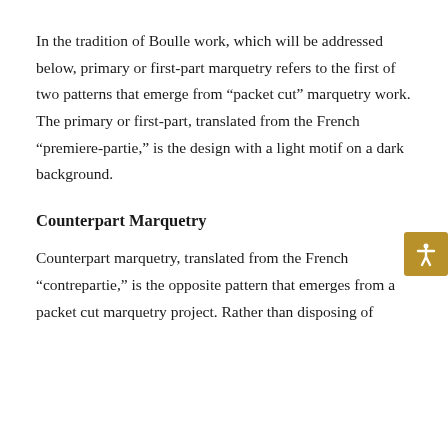In the tradition of Boulle work, which will be addressed below, primary or first-part marquetry refers to the first of two patterns that emerge from “packet cut” marquetry work. The primary or first-part, translated from the French “premiere-partie,” is the design with a light motif on a dark background.
[Figure (other): Accessibility icon button (person with arms outstretched) on a gold/amber square background]
Counterpart Marquetry
Counterpart marquetry, translated from the French “contrepartie,” is the opposite pattern that emerges from a packet cut marquetry project. Rather than disposing of